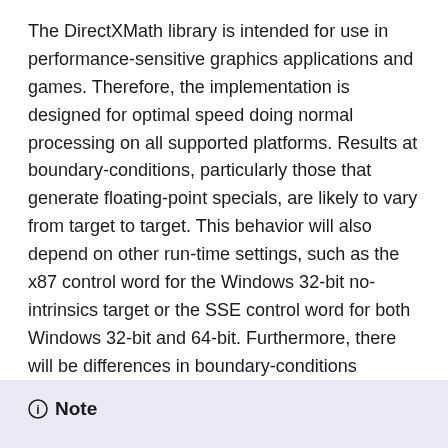The DirectXMath library is intended for use in performance-sensitive graphics applications and games. Therefore, the implementation is designed for optimal speed doing normal processing on all supported platforms. Results at boundary-conditions, particularly those that generate floating-point specials, are likely to vary from target to target. This behavior will also depend on other run-time settings, such as the x87 control word for the Windows 32-bit no-intrinsics target or the SSE control word for both Windows 32-bit and 64-bit. Furthermore, there will be differences in boundary-conditions between various CPU vendors.
Don't use DirectXMath in scientific or other applications where numerical accuracy is paramount. Also, this limitation is reflected in the lack of support for double or other extended precision computations.
Note